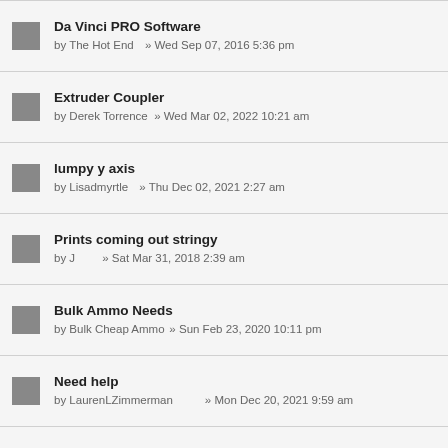Da Vinci PRO Software
by The Hot End      » Wed Sep 07, 2016 5:36 pm
Extruder Coupler
by Derek Torrence   » Wed Mar 02, 2022 10:21 am
lumpy y axis
by Lisadmyrtle      » Thu Dec 02, 2021 2:27 am
Prints coming out stringy
by J                » Sat Mar 31, 2018 2:39 am
Bulk Ammo Needs
by Bulk Cheap Ammo  » Sun Feb 23, 2020 10:11 pm
Need help
by LaurenLZimmerman                   » Mon Dec 20, 2021 9:59 am
This forum is absolutely horrible-no-one ever replies
by gravityimage    » Tue Feb 15, 2022 2:38 pm
You do not have proper printing material
by Birds1O6        » Sat Aug 29, 2020 10:19 am